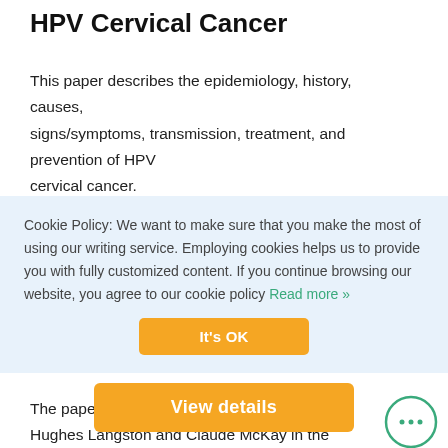HPV Cervical Cancer
This paper describes the epidemiology, history, causes, signs/symptoms, transmission, treatment, and prevention of HPV cervical cancer.
Cookie Policy: We want to make sure that you make the most of using our writing service. Employing cookies helps us to provide you with fully customized content. If you continue browsing our website, you agree to our cookie policy Read more »
The paper contains analysis of the poems by Hughes Langston and Claude McKay in the classical context of the Harlem Renaissance epoch.
View details